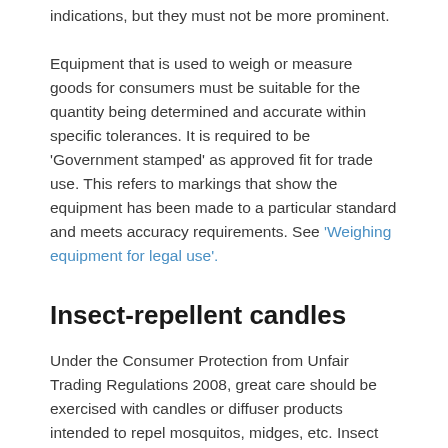indications, but they must not be more prominent. Equipment that is used to weigh or measure goods for consumers must be suitable for the quantity being determined and accurate within specific tolerances. It is required to be 'Government stamped' as approved fit for trade use. This refers to markings that show the equipment has been made to a particular standard and meets accuracy requirements. See 'Weighing equipment for legal use'.
Insect-repellent candles
Under the Consumer Protection from Unfair Trading Regulations 2008, great care should be exercised with candles or diffuser products intended to repel mosquitos, midges, etc. Insect repellents are controlled by the HSE, and products must be